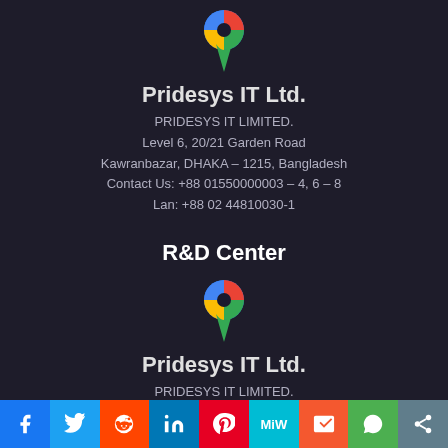[Figure (logo): Google Maps pin icon in red, green, blue, yellow — top of page]
Pridesys IT Ltd.
PRIDESYS IT LIMITED.
Level 6, 20/21 Garden Road
Kawranbazar, DHAKA – 1215, Bangladesh
Contact Us: +88 01550000003 – 4, 6 – 8
Lan: +88 02 44810030-1
R&D Center
[Figure (logo): Google Maps pin icon in red, green, blue, yellow — second section]
Pridesys IT Ltd.
PRIDESYS IT LIMITED.
Level-11, Software Technology Park
[Figure (infographic): Social media share bar with icons: Facebook, Twitter, Reddit, LinkedIn, Pinterest, MeWe, Mix, WhatsApp, Share]